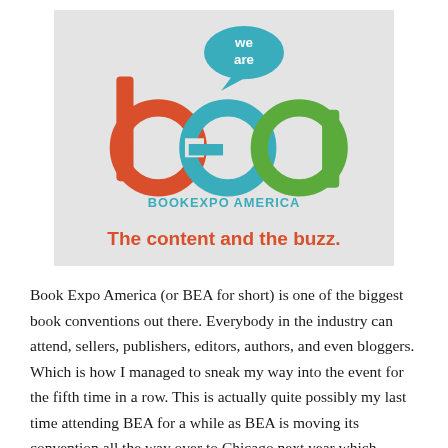[Figure (logo): We Are BEA (BookExpo America) logo. Features stylized letters b, e, a in red, teal/blue, and green on a gray background. A teal speech bubble above reads 'we are'. Below the letters: 'BOOKEXPO AMERICA' in teal, and 'The content and the buzz.' in orange/red bold text.]
Book Expo America (or BEA for short) is one of the biggest book conventions out there. Everybody in the industry can attend, sellers, publishers, editors, authors, and even bloggers. Which is how I managed to sneak my way into the event for the fifth time in a row. This is actually quite possibly my last time attending BEA for a while as BEA is moving its convention all the way over to Chicago next year which makes it a bit more